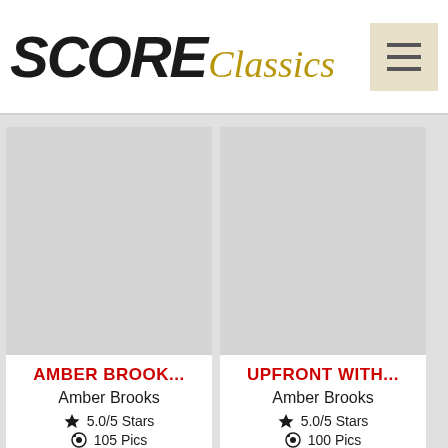SCORE Classics
[Figure (screenshot): Placeholder image area for Amber Brook product card, light gray rectangle]
AMBER BROOK...
Amber Brooks
5.0/5 Stars
105 Pics
[Figure (screenshot): Placeholder image area for Upfront With product card, light gray rectangle]
UPFRONT WITH...
Amber Brooks
5.0/5 Stars
100 Pics